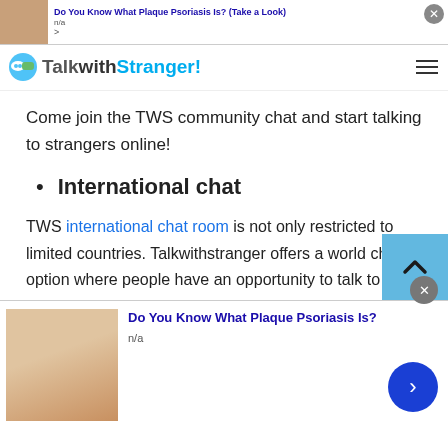[Figure (screenshot): Top ad banner: 'Do You Know What Plaque Psoriasis Is? (Take a Look)' with thumbnail and navigation arrows]
TalkwithStranger!
Come join the TWS community chat and start talking to strangers online!
International chat
TWS international chat room is not only restricted to limited countries. Talkwithstranger offers a world chat option where people have an opportunity to talk to random people from more than 220 countries. Wow! Doesn't it sound amazing to have millions of strangers online to whom you can talk without going anywhere? Well, absolutely yes! Just
[Figure (screenshot): Bottom ad overlay: 'Do You Know What Plaque Psoriasis Is?' with thumbnail image, n/a subtext, close button, and blue arrow navigation button]